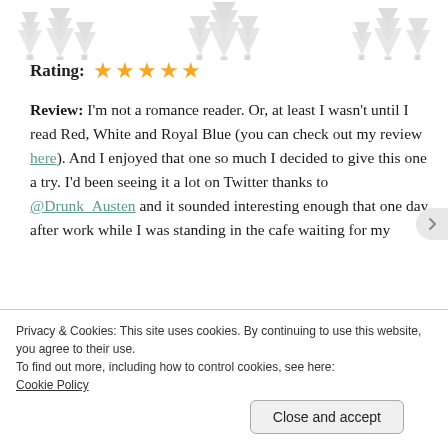[Figure (illustration): Decorative grey tree silhouettes banner at the top of the page]
Rating: ★★★★★
Review: I'm not a romance reader. Or, at least I wasn't until I read Red, White and Royal Blue (you can check out my review here). And I enjoyed that one so much I decided to give this one a try. I'd been seeing it a lot on Twitter thanks to @Drunk_Austen and it sounded interesting enough that one day after work while I was standing in the cafe waiting for my
Privacy & Cookies: This site uses cookies. By continuing to use this website, you agree to their use.
To find out more, including how to control cookies, see here:
Cookie Policy
Close and accept